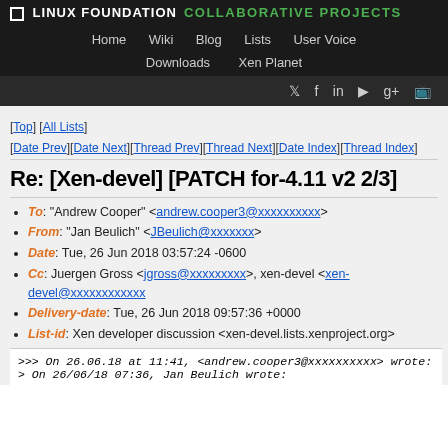LINUX FOUNDATION COLLABORATIVE PROJECTS
Home  Wiki  Blog  Lists  User Voice  Downloads  Xen Planet
[Top] [All Lists]
[Date Prev][Date Next][Thread Prev][Thread Next][Date Index][Thread Index]
Re: [Xen-devel] [PATCH for-4.11 v2 2/3]
To: "Andrew Cooper" <andrew.cooper3@xxxxxxxxxx>
From: "Jan Beulich" <JBeulich@xxxxxxx>
Date: Tue, 26 Jun 2018 03:57:24 -0600
Cc: Juergen Gross <jgross@xxxxxxxxx>, xen-devel <xen-devel@xxxxxxxxxxxx
Delivery-date: Tue, 26 Jun 2018 09:57:36 +0000
List-id: Xen developer discussion <xen-devel.lists.xenproject.org>
>>> On 26.06.18 at 11:41, <andrew.cooper3@xxxxxxxxxx> wrote:
> On 26/06/18 07:36, Jan Beulich wrote: